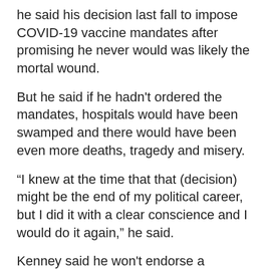he said his decision last fall to impose COVID-19 vaccine mandates after promising he never would was likely the mortal wound.
But he said if he hadn't ordered the mandates, hospitals would have been swamped and there would have been even more deaths, tragedy and misery.
“I knew at the time that that (decision) might be the end of my political career, but I did it with a clear conscience and I would do it again,” he said.
Kenney said he won't endorse a candidate to replace him, adding any cabinet minister who wants to run will have to step down from their government post.